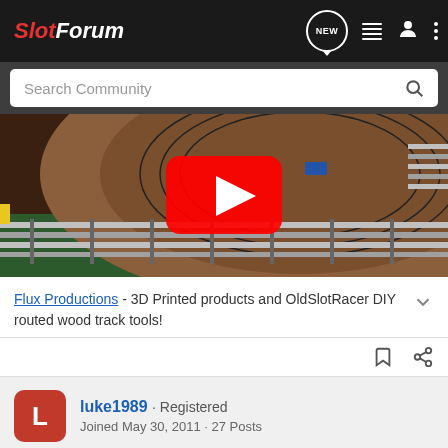SlotForum
[Figure (screenshot): YouTube video thumbnail showing a slot car track with wooden surface, guardrails, and a YouTube play button overlay in red and white]
Flux Productions - 3D Printed products and OldSlotRacer DIY routed wood track tools!
luke1989 · Registered
Joined May 30, 2011 · 27 Posts